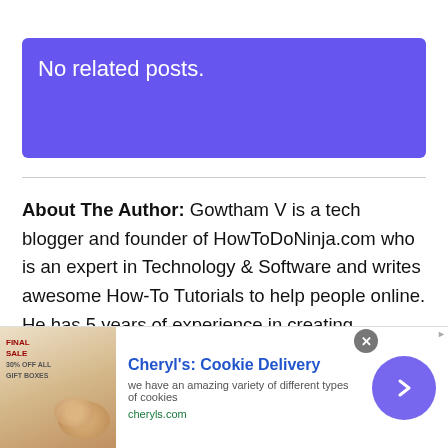No related posts.
About The Author: Gowtham V is a tech blogger and founder of HowToDoNinja.com who is an expert in Technology & Software and writes awesome How-To Tutorials to help people online. He has 5 years of experience in creating websites and writing content. He uses a Windows PC, a Macbook Pro, and an Android phone. Check out more about our website and our
[Figure (infographic): Advertisement banner for Cheryl's Cookie Delivery showing cookies image, title, description and arrow button]